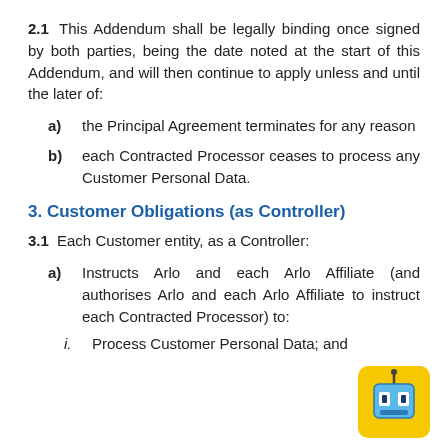2.1  This Addendum shall be legally binding once signed by both parties, being the date noted at the start of this Addendum, and will then continue to apply unless and until the later of:
a) the Principal Agreement terminates for any reason
b) each Contracted Processor ceases to process any Customer Personal Data.
3. Customer Obligations (as Controller)
3.1  Each Customer entity, as a Controller:
a) Instructs Arlo and each Arlo Affiliate (and authorises Arlo and each Arlo Affiliate to instruct each Contracted Processor) to:
i. Process Customer Personal Data; and
[Figure (illustration): Yellow robot mascot icon with blue robot face and antenna, inside a yellow rounded square]